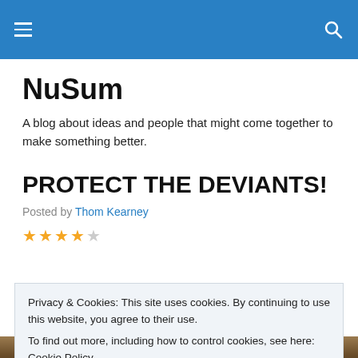NuSum [navigation bar]
NuSum
A blog about ideas and people that might come together to make something better.
PROTECT THE DEVIANTS!
Posted by Thom Kearney
Privacy & Cookies: This site uses cookies. By continuing to use this website, you agree to their use.
To find out more, including how to control cookies, see here: Cookie Policy
[Figure (photo): Photo strip at the bottom of the page showing a person outdoors]